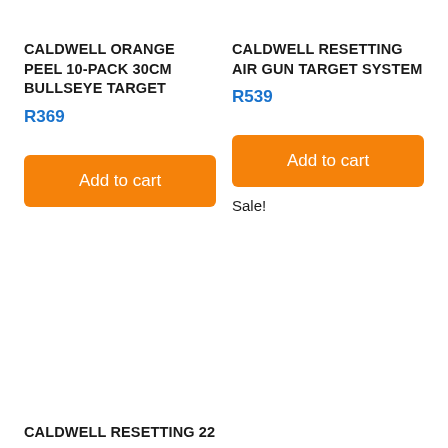CALDWELL ORANGE PEEL 10-PACK 30CM BULLSEYE TARGET
R369
CALDWELL RESETTING AIR GUN TARGET SYSTEM
R539
Add to cart
Add to cart
Sale!
CALDWELL RESETTING 22